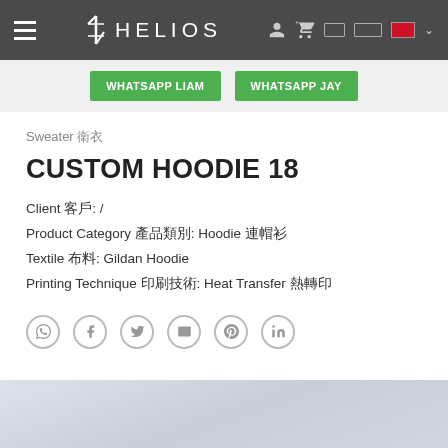HELIOS — Navigation bar with hamburger menu, logo, user icon, cart icon, language selector
WHATSAPP LIAM   WHATSAPP JAY
Sweater 衛衣
CUSTOM HOODIE 18
Client 客戶: /
Product Category 產品類別: Hoodie 連帽衫
Textile 布料: Gildan Hoodie
Printing Technique 印刷技術: Heat Transfer 熱轉印
Social share icons: WhatsApp, Facebook, Twitter, Email, Pinterest, LinkedIn
[Figure (photo): Bottom portion of a product photo showing a light grey/blue gradient background, part of a custom hoodie product image]